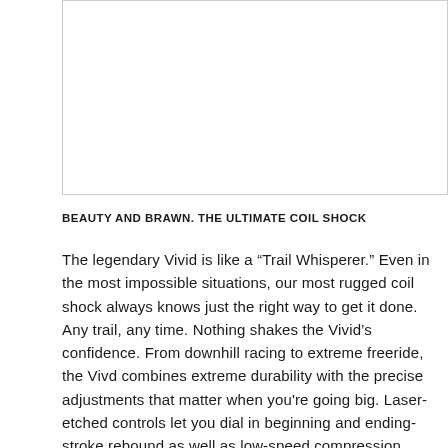[Figure (photo): White/empty image placeholder area at top of page]
BEAUTY AND BRAWN. THE ULTIMATE COIL SHOCK
The legendary Vivid is like a “Trail Whisperer.” Even in the most impossible situations, our most rugged coil shock always knows just the right way to get it done. Any trail, any time. Nothing shakes the Vivid’s confidence. From downhill racing to extreme freeride, the Vivd combines extreme durability with the precise adjustments that matter when you're going big. Laser-etched controls let you dial in beginning and ending-stroke rebound as well as low-speed compression, making this shock fly through rock gardens as smoothly as it absorbs a sudden drop in altitude.